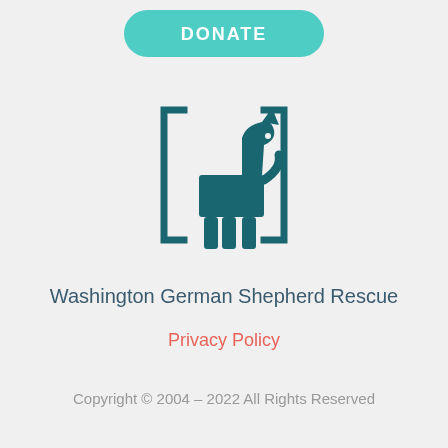DONATE
[Figure (logo): Washington German Shepherd Rescue logo — a teal dog silhouette inside square brackets]
Washington German Shepherd Rescue
Privacy Policy
Copyright © 2004 – 2022 All Rights Reserved